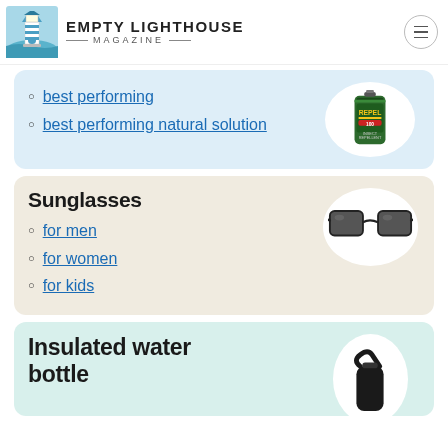EMPTY LIGHTHOUSE MAGAZINE
best performing
best performing natural solution
Sunglasses
for men
for women
for kids
Insulated water bottle